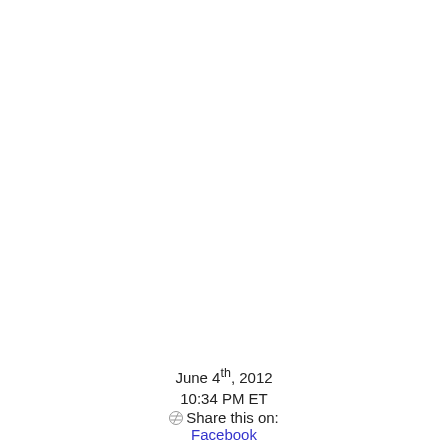June 4th, 2012
10:34 PM ET
Share this on:
Facebook